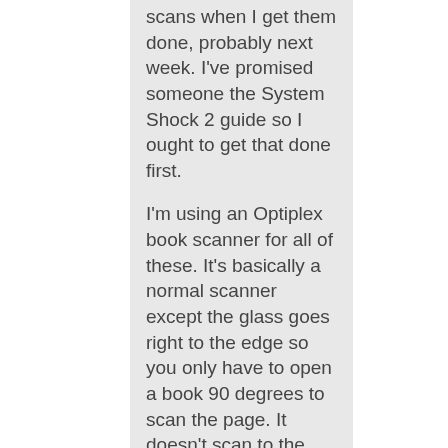scans when I get them done, probably next week. I've promised someone the System Shock 2 guide so I ought to get that done first.

I'm using an Optiplex book scanner for all of these. It's basically a normal scanner except the glass goes right to the edge so you only have to open a book 90 degrees to scan the page. It doesn't scan to the very edge but gets within a few mm's. It was cheap enough and works fairly well but the build quality is awful. I'm not sure I could recommend it as such but there isn't anything else in the same